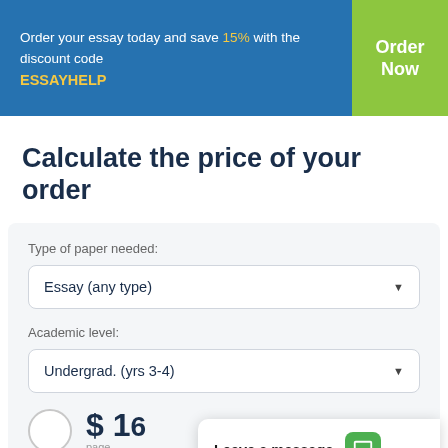Order your essay today and save 15% with the discount code ESSAYHELP
Calculate the price of your order
Type of paper needed:
Essay (any type)
Academic level:
Undergrad. (yrs 3-4)
Leave a message